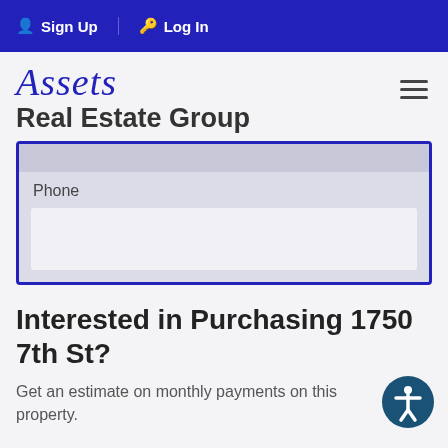Sign Up  Log In
Assets Real Estate Group
Phone
Interested in Purchasing 1750 7th St?
Get an estimate on monthly payments on this property.